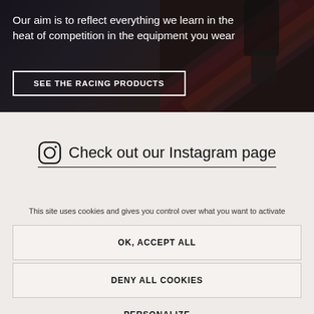[Figure (photo): Dark hero background image showing racing/competition scene with legs and striped surface]
Our aim is to reflect everything we learn in the heat of competition in the equipment you wear
SEE THE RACING PRODUCTS
Check out our Instagram page
This site uses cookies and gives you control over what you want to activate
OK, ACCEPT ALL
DENY ALL COOKIES
PERSONALIZE